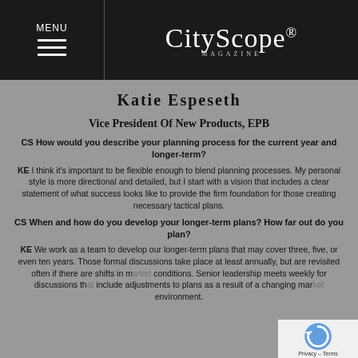MENU — CityScope Magazine
Katie Espeseth
Vice President Of New Products, EPB
CS How would you describe your planning process for the current year and longer-term?
KE I think it's important to be flexible enough to blend planning processes. My personal style is more directional and detailed, but I start with a vision that includes a clear statement of what success looks like to provide the firm foundation for those creating necessary tactical plans.
CS When and how do you develop your longer-term plans? How far out do you plan?
KE We work as a team to develop our longer-term plans that may cover three, five, or even ten years. Those formal discussions take place at least annually, but are revisited often if there are shifts in market conditions. Senior leadership meets weekly for discussions that include adjustments to plans as a result of a changing market environment.